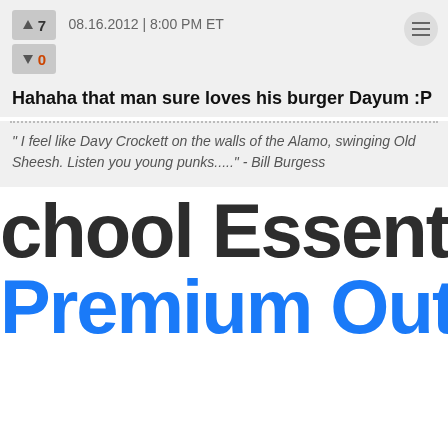08.16.2012 | 8:00 PM ET
7
0
Hahaha that man sure loves his burger Dayum :P
" I feel like Davy Crockett on the walls of the Alamo, swinging Old Sheesh. Listen you young punks....." - Bill Burgess
chool Essenti
Premium Outlet